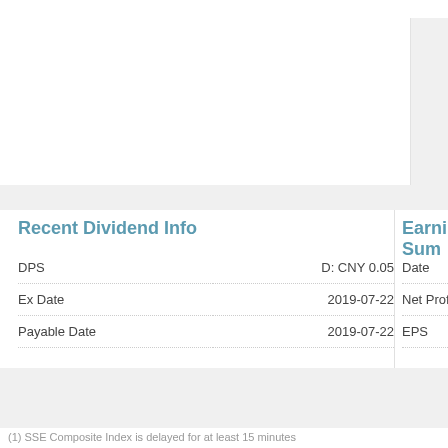Recent Dividend Info
|  |  |
| --- | --- |
| DPS | D: CNY 0.05 |
| Ex Date | 2019-07-22 |
| Payable Date | 2019-07-22 |
Earnings Sum…
|  |  |
| --- | --- |
| Date |  |
| Net Profit (10K) |  |
| EPS |  |
(1) SSE Composite Index is delayed for at least 15 minutes